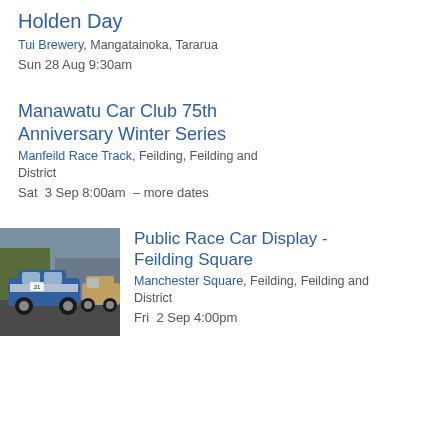Holden Day
Tui Brewery, Mangatainoka, Tararua
Sun 28 Aug 9:30am
Manawatu Car Club 75th Anniversary Winter Series
Manfeild Race Track, Feilding, Feilding and District
Sat  3 Sep 8:00am  – more dates
[Figure (photo): Photo of race cars in a parking area or paddock, showing multiple cars including one prominently in blue and white livery.]
Public Race Car Display - Feilding Square
Manchester Square, Feilding, Feilding and District
Fri  2 Sep 4:00pm